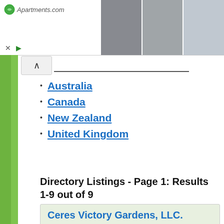[Figure (screenshot): Apartments.com advertisement banner with logo and apartment photos]
Australia
Canada
New Zealand
United Kingdom
Directory Listings - Page 1: Results 1-9 out of 9
Ceres Victory Gardens, LLC.
Po Box 261
[Figure (screenshot): Screenshot of Ceres Victory Gardens LLC website showing strawberry imagery and tagline 'Minutes from picked to your plate']